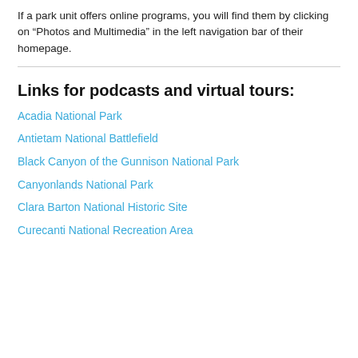If a park unit offers online programs, you will find them by clicking on “Photos and Multimedia” in the left navigation bar of their homepage.
Links for podcasts and virtual tours:
Acadia National Park
Antietam National Battlefield
Black Canyon of the Gunnison National Park
Canyonlands National Park
Clara Barton National Historic Site
Curecanti National Recreation Area